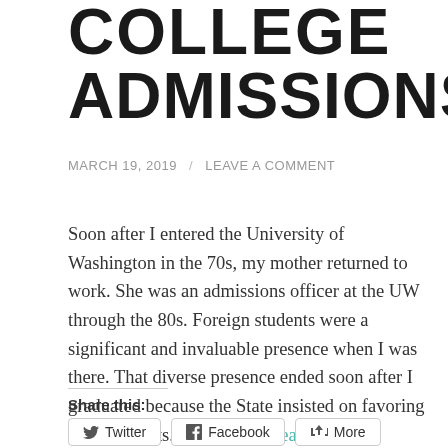COLLEGE ADMISSIONS
MARCH 19, 2019 / LEAVE A COMMENT
Soon after I entered the University of Washington in the 70s, my mother returned to work. She was an admissions officer at the UW through the 80s. Foreign students were a significant and invaluable presence when I was there. That diverse presence ended soon after I graduated because the State insisted on favoring local students. … Continue reading
Share this:
Twitter Facebook More